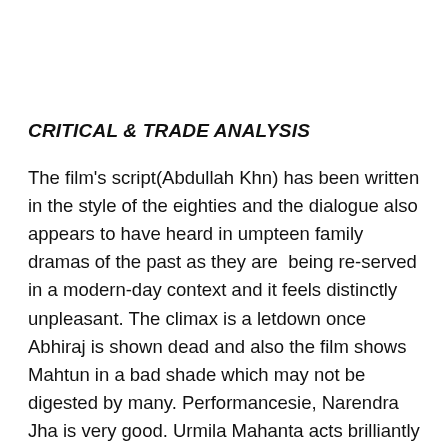CRITICAL & TRADE ANALYSIS
The film's script(Abdullah Khn) has been written in the style of the eighties and the dialogue also appears to have heard in umpteen family dramas of the past as they are  being re-served in a modern-day context and it feels distinctly unpleasant. The climax is a letdown once Abhiraj is shown dead and also the film shows Mahtun in a bad shade which may not be digested by many. Performancesie, Narendra Jha is very good. Urmila Mahanta acts brilliantly and she needs bigger makers to